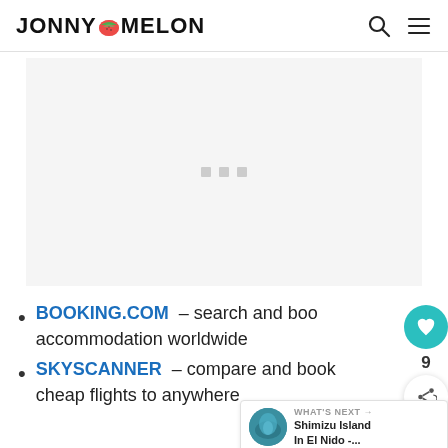JONNY MELON
[Figure (other): Advertisement placeholder with three gray dots in a light gray box]
BOOKING.COM – search and book accommodation worldwide
SKYSCANNER – compare and book cheap flights to anywhere